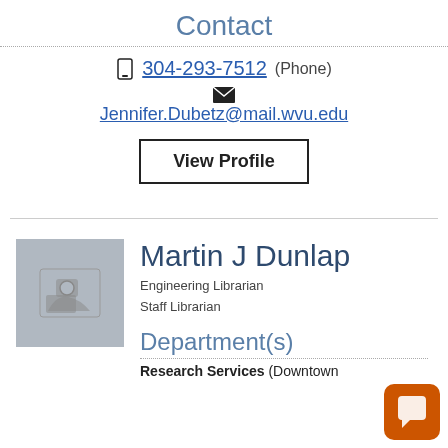Contact
304-293-7512 (Phone)
Jennifer.Dubetz@mail.wvu.edu
View Profile
Martin J Dunlap
Engineering Librarian
Staff Librarian
Department(s)
Research Services (Downtown